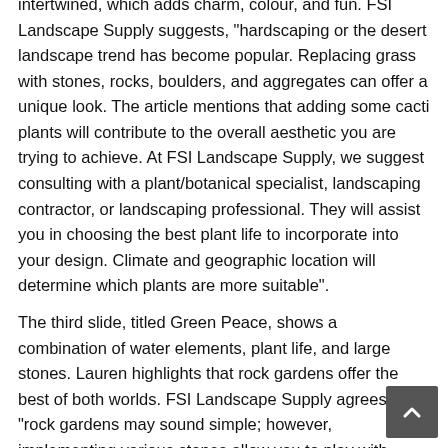intertwined, which adds charm, colour, and fun. FSI Landscape Supply suggests, "hardscaping or the desert landscape trend has become popular. Replacing grass with stones, rocks, boulders, and aggregates can offer a unique look. The article mentions that adding some cacti plants will contribute to the overall aesthetic you are trying to achieve. At FSI Landscape Supply, we suggest consulting with a plant/botanical specialist, landscaping contractor, or landscaping professional. They will assist you in choosing the best plant life to incorporate into your design. Climate and geographic location will determine which plants are more suitable".
The third slide, titled Green Peace, shows a combination of water elements, plant life, and large stones. Lauren highlights that rock gardens offer the best of both worlds. FSI Landscape Supply agrees, "rock gardens may sound simple; however, implementing various stones allow you to play with creativity and other landscaping elements. As the article mentions, integrating greenery or incorporating a water feature will add character, colour, and charm.